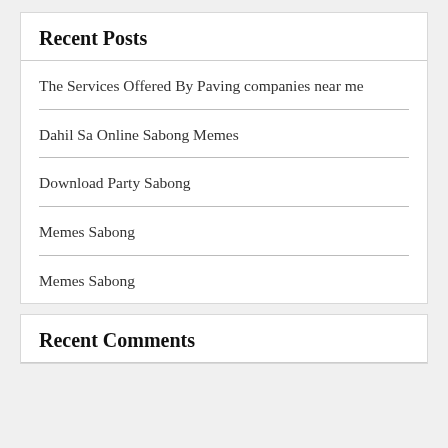Recent Posts
The Services Offered By Paving companies near me
Dahil Sa Online Sabong Memes
Download Party Sabong
Memes Sabong
Memes Sabong
Recent Comments